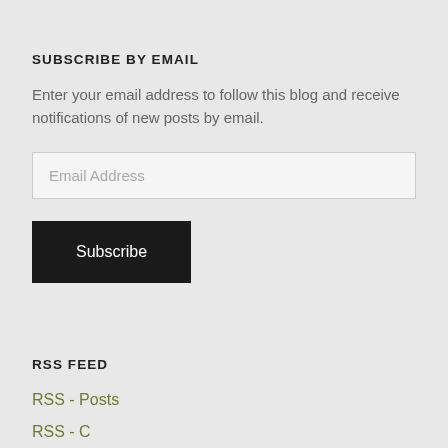SUBSCRIBE BY EMAIL
Enter your email address to follow this blog and receive notifications of new posts by email.
Email Address
Subscribe
RSS FEED
RSS - Posts
RSS - Comments